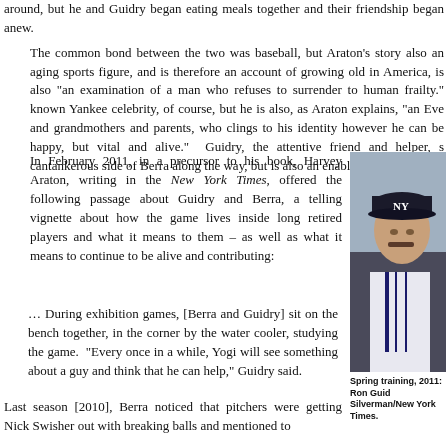around, but he and Guidry began eating meals together and their friendship began anew.
The common bond between the two was baseball, but Araton's story also an aging sports figure, and is therefore an account of growing old in America, is also "an examination of a man who refuses to surrender to human frailty." known Yankee celebrity, of course, but he is also, as Araton explains, "an Eve and grandmothers and parents, who clings to his identity however he can be happy, but vital and alive." Guidry, the attentive friend and helper, s cantankerous side of Berra along the way, but is also an enabler of purpose and
In February 2011, in a precursor to his book, Harvey Araton, writing in the New York Times, offered the following passage about Guidry and Berra, a telling vignette about how the game lives inside long retired players and what it means to them – as well as what it means to continue to be alive and contributing:
… During exhibition games, [Berra and Guidry] sit on the bench together, in the corner by the water cooler, studying the game. "Every once in a while, Yogi will see something about a guy and think that he can help," Guidry said.
[Figure (photo): Spring training 2011 photo of Ron Guidry in New York Yankees uniform and cap, seated in dugout]
Spring training, 2011: Ron Guid Silverman/New York Times.
Last season [2010], Berra noticed that pitchers were getting Nick Swisher out with breaking balls and mentioned to